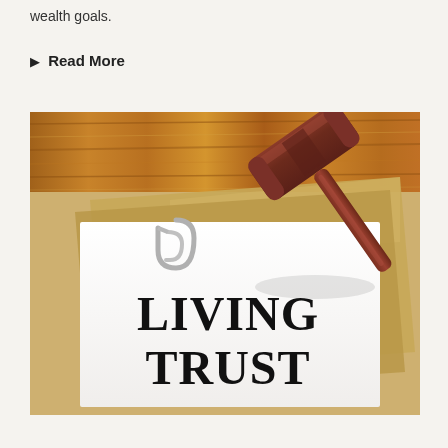wealth goals.
▶ Read More
[Figure (illustration): Illustration of a 'Living Trust' document with a paper clip on a wooden desk surface, with a brown judge's gavel resting on top, and manila folder papers beneath the white document.]